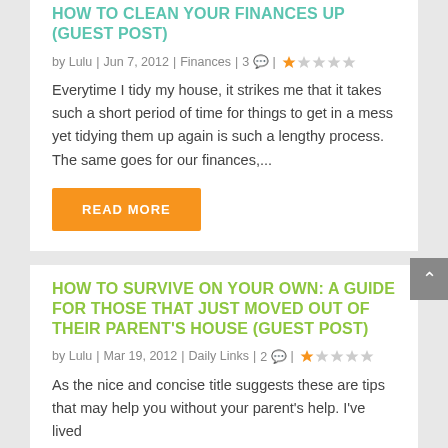HOW TO CLEAN YOUR FINANCES UP (GUEST POST)
by Lulu | Jun 7, 2012 | Finances | 3 | ★☆☆☆☆
Everytime I tidy my house, it strikes me that it takes such a short period of time for things to get in a mess yet tidying them up again is such a lengthy process. The same goes for our finances,...
READ MORE
HOW TO SURVIVE ON YOUR OWN: A GUIDE FOR THOSE THAT JUST MOVED OUT OF THEIR PARENT'S HOUSE (GUEST POST)
by Lulu | Mar 19, 2012 | Daily Links | 2 | ★☆☆☆☆
As the nice and concise title suggests these are tips that may help you without your parent's help. I've lived